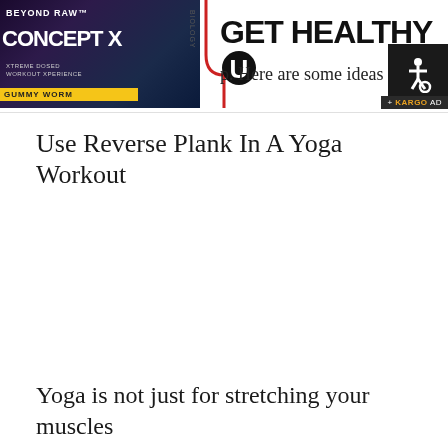GET HEALTHY U
[Figure (advertisement): Beyond Raw Concept X supplement advertisement with dark background and product imagery on the left side, with a red curved line divider]
p. Here are some ideas to mak
[Figure (other): Accessibility icon badge (wheelchair symbol) with KARGO AD label, black background]
Use Reverse Plank In A Yoga Workout
Yoga is not just for stretching your muscles